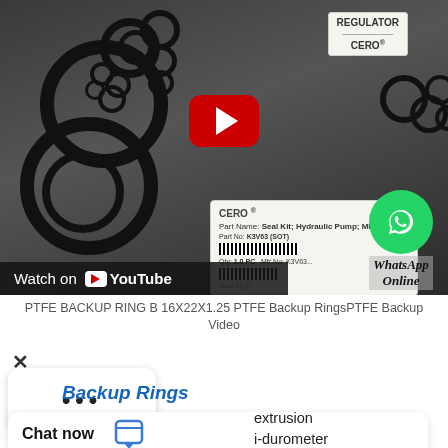[Figure (screenshot): YouTube video thumbnail showing PTFE backup rings/o-rings product with CERO brand label 'Seal Kit, Hydraulic Pump, MP', YouTube play button overlay, Watch on YouTube bar, and WhatsApp Online button]
PTFE BACKUP RING B 16X22X1.25 PTFE Backup RingsPTFE Backup Video
[Figure (screenshot): Chat popup with three dots indicating loading or options]
Backup Rings
[Figure (screenshot): Chat now button with chat icon]
extrusion
i-durometer
A backup ring is